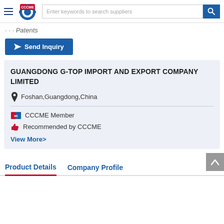CCCME - Enter keywords to search suppliers
Patents
Send Inquiry
GUANGDONG G-TOP IMPORT AND EXPORT COMPANY LIMITED
Foshan,Guangdong,China
CCCME Member
Recommended by CCCME
View More>
Product Details
Company Profile